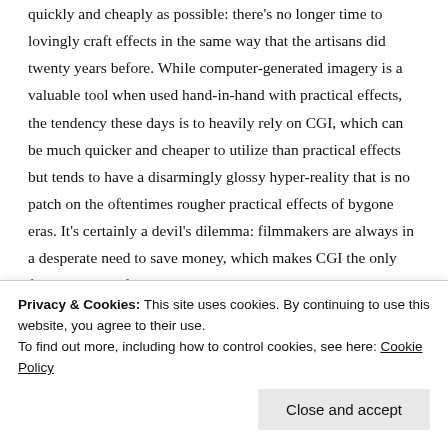quickly and cheaply as possible: there's no longer time to lovingly craft effects in the same way that the artisans did twenty years before. While computer-generated imagery is a valuable tool when used hand-in-hand with practical effects, the tendency these days is to heavily rely on CGI, which can be much quicker and cheaper to utilize than practical effects but tends to have a disarmingly glossy hyper-reality that is no patch on the oftentimes rougher practical effects of bygone eras. It's certainly a devil's dilemma: filmmakers are always in a desperate need to save money, which makes CGI the only feasible reality for many low-budget productions, yet cheap CGI makes any film look bad, regardless of the general quality of
Privacy & Cookies: This site uses cookies. By continuing to use this website, you agree to their use.
To find out more, including how to control cookies, see here: Cookie Policy
Close and accept